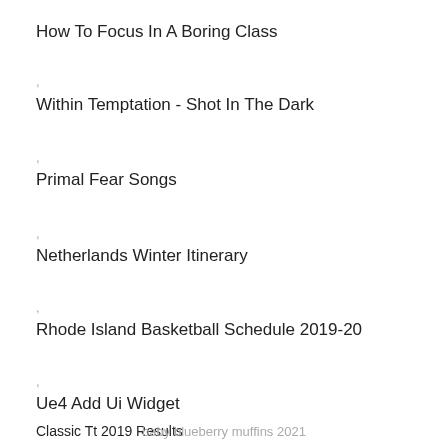How To Focus In A Boring Class
,
Within Temptation - Shot In The Dark
,
Primal Fear Songs
,
Netherlands Winter Itinerary
,
Rhode Island Basketball Schedule 2019-20
,
Ue4 Add Ui Widget
,
Classic Tt 2019 Results
,
baby blueberry muffins 2021